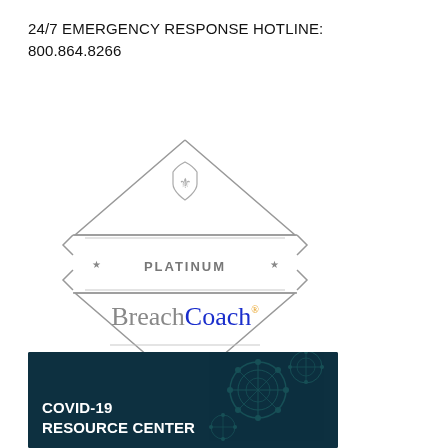24/7 EMERGENCY RESPONSE HOTLINE: 800.864.8266
[Figure (logo): Platinum BreachCoach Netdiligence Authorized badge — diamond/hexagon shaped grey outline badge with star symbols, a crest icon at top, text PLATINUM in center, BreachCoach logo below (Breach in grey, Coach in blue), and NETDILIGENCE AUTHORIZED text at bottom.]
[Figure (photo): COVID-19 Resource Center banner — dark teal/navy background with snowflake/virus particle imagery. Bold white text reads COVID-19 RESOURCE CENTER.]